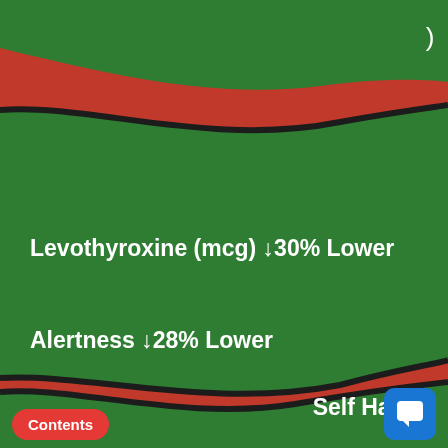[Figure (infographic): Sankey-style wavy band chart on red background showing three green bands with labels. Top band: 'Levothyroxine (mcg) ↓30% Lower'. Middle band: 'Distress ↑29% Higher' with 'Self Harm' label on right. Bottom band: 'Alertness ↓28% Lower'.]
Levothyroxine (mcg) ↓30% Lower
Self Harm
Distress ↑29% Higher
Alertness ↓28% Lower
Contents